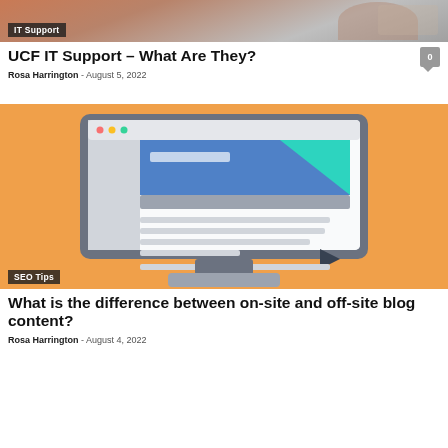[Figure (photo): Partial blurred photo of people at a desk, IT Support category badge overlay]
UCF IT Support – What Are They?
Rosa Harrington - August 5, 2022
[Figure (illustration): Illustration of a desktop monitor with a website UI on orange background, SEO Tips category badge overlay]
What is the difference between on-site and off-site blog content?
Rosa Harrington - August 4, 2022